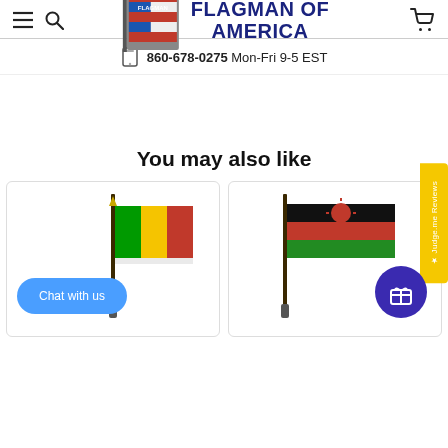Flagman of America — navigation header with hamburger menu, search, logo, and cart icon
860-678-0275  Mon-Fri 9-5 EST
You may also like
[Figure (photo): Product photo of a Mali table flag on a pole, small desk flag]
[Figure (photo): Product photo of a Malawi table flag on a pole, small desk flag]